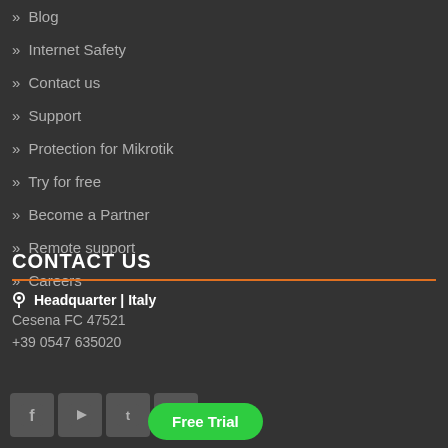» Blog
» Internet Safety
» Contact us
» Support
» Protection for Mikrotik
» Try for free
» Become a Partner
» Remote support
» Careers
CONTACT US
Headquarter | Italy
Cesena FC 47521
+39 0547 635020
[Figure (other): Social media icons: Facebook, YouTube, Twitter, LinkedIn]
Free Trial